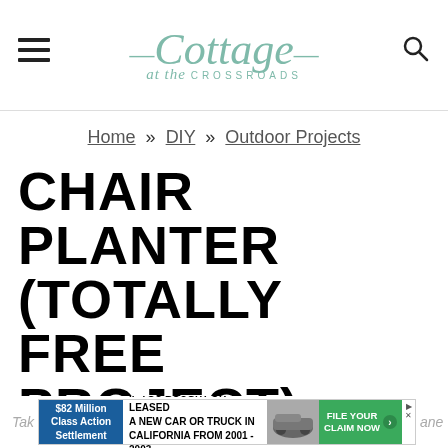Cottage at the Crossroads
Home » DIY » Outdoor Projects
CHAIR PLANTER (TOTALLY FREE PROJECT)
BY: Leo  PUBLISHED: 19 May, '12
UPDATED: 26 Apr, '15  51 Comments
[Figure (screenshot): Advertisement banner: $82 Million Class Action Settlement - If you bought or leased a new car or truck in California from 2001-2003, File Your Claim Now]